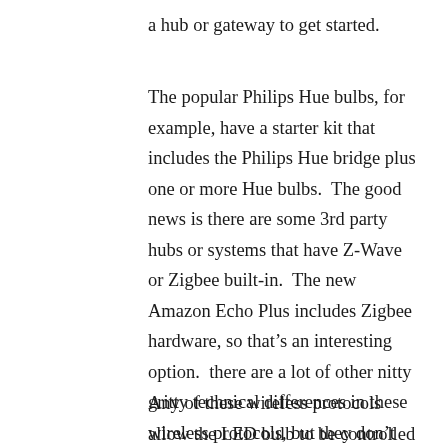a hub or gateway to get started.
The popular Philips Hue bulbs, for example, have a starter kit that includes the Philips Hue bridge plus one or more Hue bulbs.  The good news is there are some 3rd party hubs or systems that have Z-Wave or Zigbee built-in.  The new Amazon Echo Plus includes Zigbee hardware, so that’s an interesting option.  there are a lot of other nitty gritty technical differences in these wireless protocols, but they don’t really matter for now.
Any of these wireless protocols allow the LED bulb to be controlled from an app on your